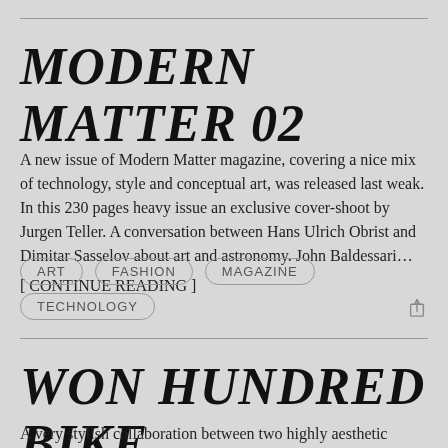MODERN MATTER 02
A new issue of Modern Matter magazine, covering a nice mix of technology, style and conceptual art, was released last weak. In this 230 pages heavy issue an exclusive cover-shoot by Jurgen Teller. A conversation between Hans Ulrich Obrist and Dimitar Sasselov about art and astronomy. John Baldessari…
[ CONTINUE READING ]
ART
FASHION
MAGAZINE
TECHNOLOGY
WON HUNDRED BIKE
A very stylish collaboration between two highly aesthetic Danish